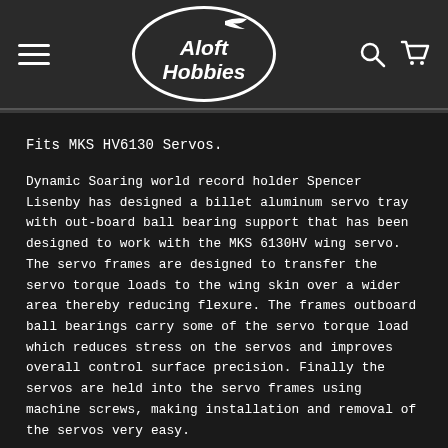Aloft Hobbies [navigation header with hamburger menu, logo, search and cart icons]
Fits MKS HV6130 Servos.
Dynamic Soaring world record holder Spencer Lisenby has designed a billet aluminum servo tray with out-board ball bearing support that has been designed to work with the MKS 6130HV wing servo. The servo frames are designed to transfer the servo torque loads to the wing skin over a wider area thereby reducing flexure. The frames outboard ball bearings carry some of the servo torque load which reduces stress on the servos and improves overall control surface precision. Finally the servos are held into the servo frames using machine screws, making installation and removal of the servos very easy.
What else can I say, Spencer flies over 500mph with this kit, and they hold fast.